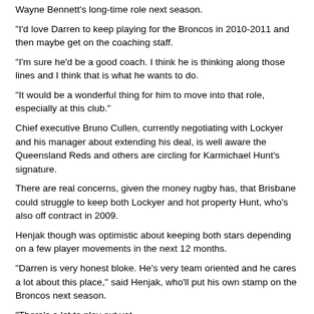Wayne Bennett's long-time role next season.
"I'd love Darren to keep playing for the Broncos in 2010-2011 and then maybe get on the coaching staff.
"I'm sure he'd be a good coach. I think he is thinking along those lines and I think that is what he wants to do.
"It would be a wonderful thing for him to move into that role, especially at this club."
Chief executive Bruno Cullen, currently negotiating with Lockyer and his manager about extending his deal, is well aware the Queensland Reds and others are circling for Karmichael Hunt's signature.
There are real concerns, given the money rugby has, that Brisbane could struggle to keep both Lockyer and hot property Hunt, who's also off contract in 2009.
Henjak though was optimistic about keeping both stars depending on a few player movements in the next 12 months.
"Darren is very honest bloke. He's very team oriented and he cares a lot about this place," said Henjak, who'll put his own stamp on the Broncos next season.
"There's a lot to play out yet.
"Sam (Thaiday) is off contract, Greg Eastwood's off contract and Dave Taylor is off contract.
"I don't know what's going to happen with those guys and what kind of money will get freed up.